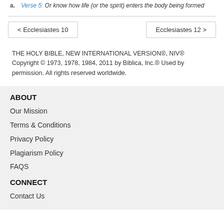a. Verse 5: Or know how life (or the spirit) enters the body being formed
< Ecclesiastes 10
Ecclesiastes 12 >
THE HOLY BIBLE, NEW INTERNATIONAL VERSION®, NIV® Copyright © 1973, 1978, 1984, 2011 by Biblica, Inc.® Used by permission. All rights reserved worldwide.
ABOUT
Our Mission
Terms & Conditions
Privacy Policy
Plagiarism Policy
FAQS
CONNECT
Contact Us